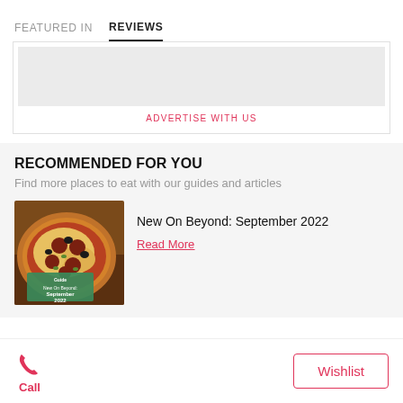FEATURED IN   REVIEWS
[Figure (other): Advertisement placeholder with grey image area and 'ADVERTISE WITH US' link]
RECOMMENDED FOR YOU
Find more places to eat with our guides and articles
[Figure (photo): Photo of a pizza with toppings showing 'New On Beyond: September 2022' guide overlay]
New On Beyond: September 2022
Read More
Call   Wishlist